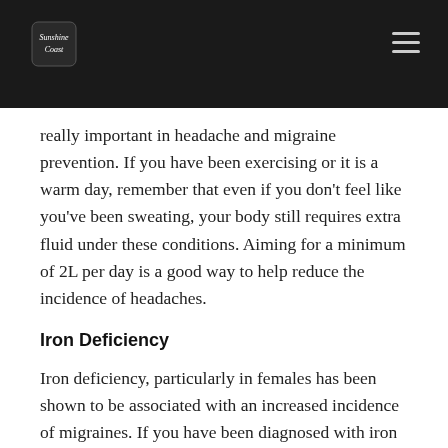really important in headache and migraine prevention. If you have been exercising or it is a warm day, remember that even if you don't feel like you've been sweating, your body still requires extra fluid under these conditions. Aiming for a minimum of 2L per day is a good way to help reduce the incidence of headaches.
Iron Deficiency
Iron deficiency, particularly in females has been shown to be associated with an increased incidence of migraines. If you have been diagnosed with iron deficiency anaemia, then ensuring adequate iron intake or a possible